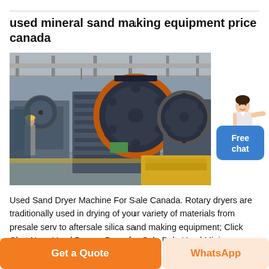used mineral sand making equipment price canada
[Figure (photo): Large industrial jaw crusher / sand making equipment in a factory setting. Multiple heavy grey metal machines with large orange/black flywheels visible on a factory floor.]
[Figure (illustration): Small illustration of a woman (customer service representative) pointing, used as a chat widget graphic.]
Free chat
Used Sand Dryer Machine For Sale Canada. Rotary dryers are traditionally used in drying of your variety of materials from presale serv to aftersale silica sand making equipment; Click Chat Now. Used Dryers, Dryer for Sale Belt, Used Mining...
Get a Quote
WhatsApp